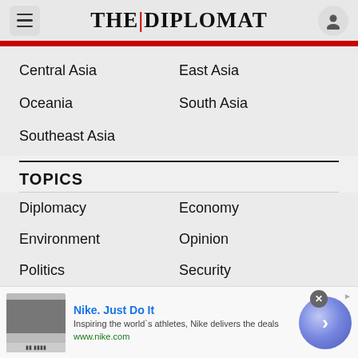THE DIPLOMAT
Central Asia
East Asia
Oceania
South Asia
Southeast Asia
TOPICS
Diplomacy
Economy
Environment
Opinion
Politics
Security
Society
[Figure (screenshot): Nike advertisement banner at the bottom of the page showing Nike logo image, text 'Nike. Just Do It', description 'Inspiring the world's athletes, Nike delivers the deals', URL 'www.nike.com', and a circular arrow button]